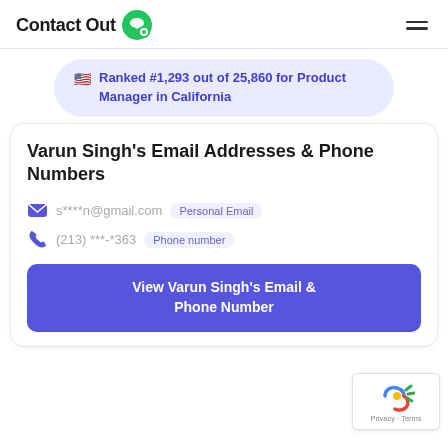ContactOut
Ranked #1,293 out of 25,860 for Product Manager in California
Varun Singh's Email Addresses & Phone Numbers
s****n@gmail.com  Personal Email
(213) ***-*363  Phone number
View Varun Singh's Email & Phone Number